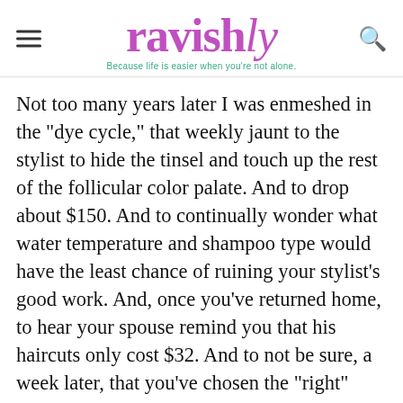ravishly — Because life is easier when you're not alone.
Not too many years later I was enmeshed in the "dye cycle," that weekly jaunt to the stylist to hide the tinsel and touch up the rest of the follicular color palate. And to drop about $150. And to continually wonder what water temperature and shampoo type would have the least chance of ruining your stylist's good work. And, once you've returned home, to hear your spouse remind you that his haircuts only cost $32. And to not be sure, a week later, that you've chosen the "right" color.
Year after year, this routine continues for every